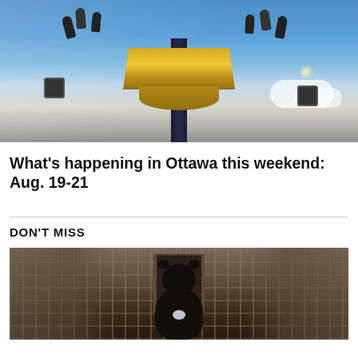[Figure (photo): Amusement park ride photo taken from below, showing riders on a thrill ride against a blue sky with clouds]
What's happening in Ottawa this weekend: Aug. 19-21
DON'T MISS
[Figure (photo): A black bear in an enclosure with a wire fence, viewed from behind, facing a doorway or shelter]